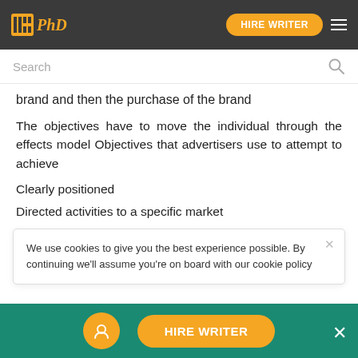IPhD | HIRE WRITER
brand and then the purchase of the brand
The objectives have to move the individual through the effects model Objectives that advertisers use to attempt to achieve
Clearly positioned
Directed activities to a specific market
To achieve and the objectives
To achieve objectives within the allocated budget
We use cookies to give you the best experience possible. By continuing we'll assume you're on board with our cookie policy
HIRE WRITER